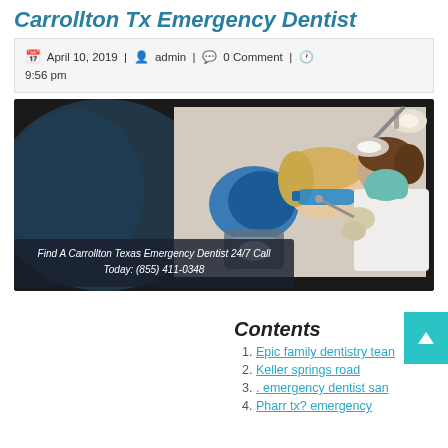Carrollton Tx Emergency Dentist
April 10, 2019 | admin | 0 Comment | 9:56 pm
[Figure (photo): Dental patient in chair receiving treatment from a masked dentist, with overlaid text: Find A Carrollton Texas Emergency Dentist 24/7 Call Today: (855) 411-0348]
Contents
Epic family dentistry tea
Keller springs road
. emergency dentist san
Pharr tx? emergency